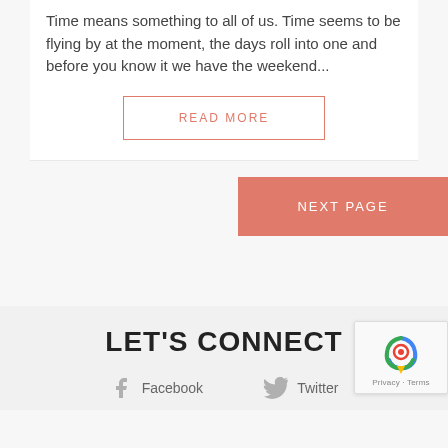Time means something to all of us. Time seems to be flying by at the moment, the days roll into one and before you know it we have the weekend...
READ MORE
NEXT PAGE
LET'S CONNECT
Facebook
Twitter